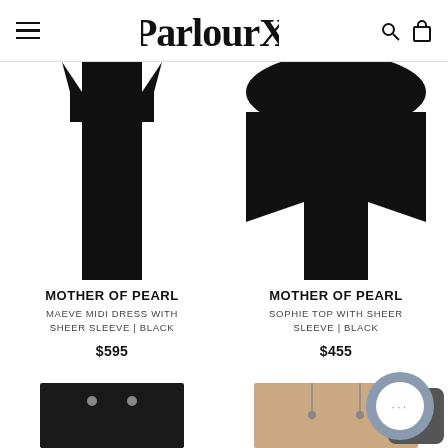ParlourX
[Figure (photo): Black midi dress with sheer sleeves on white background (cropped, top portion)]
[Figure (photo): Black top with sheer sleeves on white background (cropped, top portion)]
MOTHER OF PEARL
MAEVE MIDI DRESS WITH SHEER SLEEVE | BLACK
$595
MOTHER OF PEARL
SOPHIE TOP WITH SHEER SLEEVE | BLACK
$455
[Figure (photo): Black garment bottom portion (cropped)]
[Figure (photo): Tan/beige garment bottom portion (cropped)]